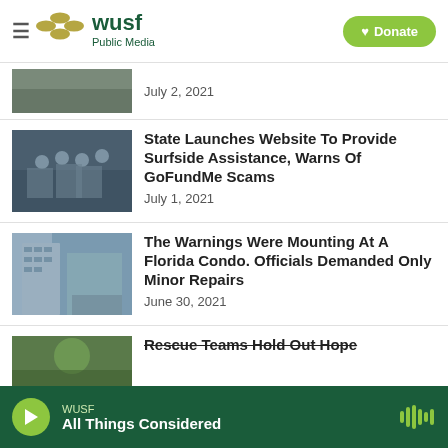WUSF Public Media | Donate
July 2, 2021
State Launches Website To Provide Surfside Assistance, Warns Of GoFundMe Scams
July 1, 2021
The Warnings Were Mounting At A Florida Condo. Officials Demanded Only Minor Repairs
June 30, 2021
Rescue Teams Hold Out Hope
WUSF / All Things Considered